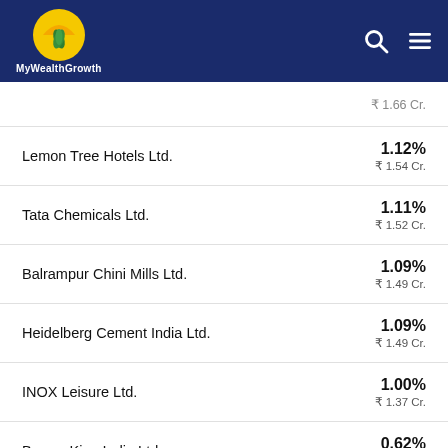MyWealthGrowth
| Company | Allocation | Value |
| --- | --- | --- |
| (partial row) | ₹ 1.66 Cr. |  |
| Lemon Tree Hotels Ltd. | 1.12% | ₹ 1.54 Cr. |
| Tata Chemicals Ltd. | 1.11% | ₹ 1.52 Cr. |
| Balrampur Chini Mills Ltd. | 1.09% | ₹ 1.49 Cr. |
| Heidelberg Cement India Ltd. | 1.09% | ₹ 1.49 Cr. |
| INOX Leisure Ltd. | 1.00% | ₹ 1.37 Cr. |
| Burger King India Ltd. | 0.62% | ₹ .85 Cr. |
| M M Forgings Ltd. | 0.54% | ₹ .74 Cr. |
| (partial row) | 0.52% |  |